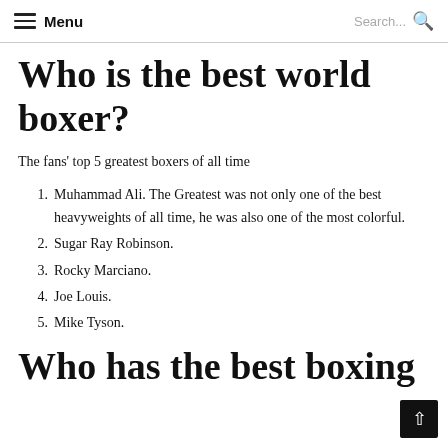Menu  Search...
Who is the best world boxer?
The fans' top 5 greatest boxers of all time
Muhammad Ali. The Greatest was not only one of the best heavyweights of all time, he was also one of the most colorful.
Sugar Ray Robinson.
Rocky Marciano.
Joe Louis.
Mike Tyson.
Who has the best boxing